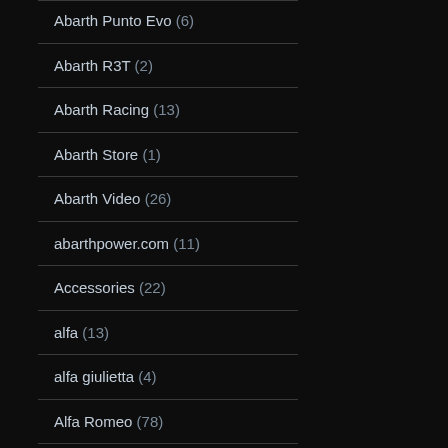Abarth Punto Evo (6)
Abarth R3T (2)
Abarth Racing (13)
Abarth Store (1)
Abarth Video (26)
abarthpower.com (11)
Accessories (22)
alfa (13)
alfa giulietta (4)
Alfa Romeo (78)
Alfa Romeo 100th Anniversary (3)
Alfa Romeo 4C (30)
Alfa Romeo 8C (2)